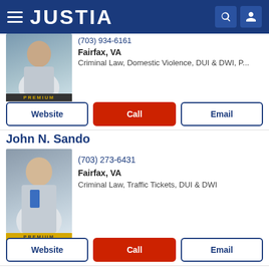JUSTIA
(703) 934-0101
Fairfax, VA
Criminal Law, Domestic Violence, DUI & DWI, P...
Website | Call | Email
John N. Sando
(703) 273-6431
Fairfax, VA
Criminal Law, Traffic Tickets, DUI & DWI
Website | Call | Email
Matthew Crowley